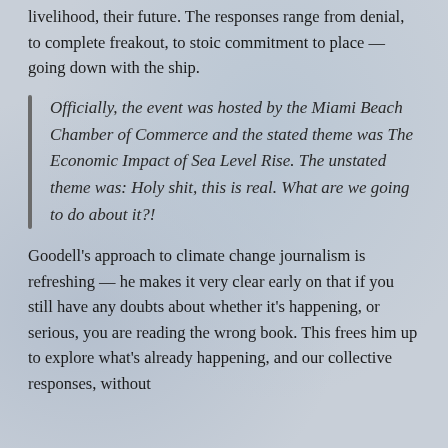livelihood, their future. The responses range from denial, to complete freakout, to stoic commitment to place — going down with the ship.
Officially, the event was hosted by the Miami Beach Chamber of Commerce and the stated theme was The Economic Impact of Sea Level Rise. The unstated theme was: Holy shit, this is real. What are we going to do about it?!
Goodell's approach to climate change journalism is refreshing — he makes it very clear early on that if you still have any doubts about whether it's happening, or serious, you are reading the wrong book. This frees him up to explore what's already happening, and our collective responses, without